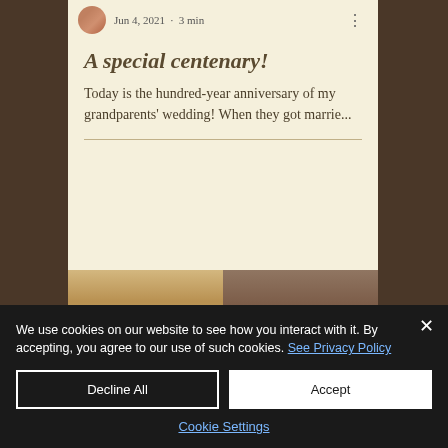Jun 4, 2021 · 3 min
A special centenary!
Today is the hundred-year anniversary of my grandparents' wedding! When they got marrie...
[Figure (photo): Two photos side by side showing wedding decorations, ribbons and floral arrangements]
We use cookies on our website to see how you interact with it. By accepting, you agree to our use of such cookies. See Privacy Policy
Decline All
Accept
Cookie Settings